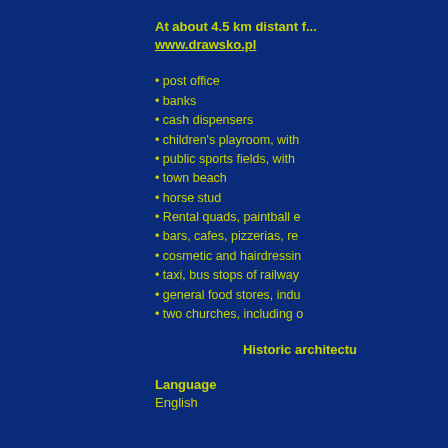At about 4.5 km distant f... www.drawsko.pl
post office
banks
cash dispensers
children's playroom, with...
public sports fields, with...
town beach
horse stud
Rental quads, paintball e...
bars, cafes, pizzerias, re...
cosmetic and hairdressin...
taxi, bus stops of railway...
general food stores, indu...
two churches, including o...
Historic architectu...
Language
English